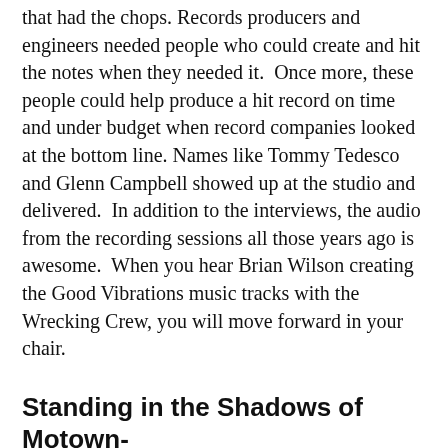that had the chops. Records producers and engineers needed people who could create and hit the notes when they needed it.  Once more, these people could help produce a hit record on time and under budget when record companies looked at the bottom line. Names like Tommy Tedesco and Glenn Campbell showed up at the studio and delivered.  In addition to the interviews, the audio from the recording sessions all those years ago is awesome.  When you hear Brian Wilson creating the Good Vibrations music tracks with the Wrecking Crew, you will move forward in your chair.
Standing in the Shadows of Motown- Hulu
Much like the Wrecking Crew, this is a film about the Funk Brothers from the hit Motown years.  These